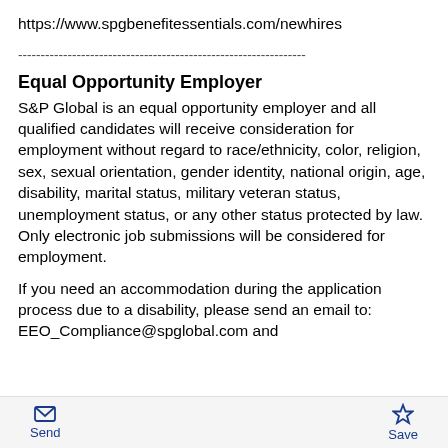https://www.spgbenefitessentials.com/newhires
----------------------------------------------------------------
Equal Opportunity Employer
S&P Global is an equal opportunity employer and all qualified candidates will receive consideration for employment without regard to race/ethnicity, color, religion, sex, sexual orientation, gender identity, national origin, age, disability, marital status, military veteran status, unemployment status, or any other status protected by law. Only electronic job submissions will be considered for employment.
If you need an accommodation during the application process due to a disability, please send an email to: EEO_Compliance@spglobal.com and
Send   Save